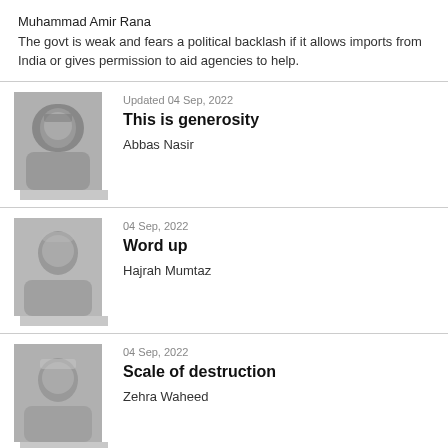Muhammad Amir Rana
The govt is weak and fears a political backlash if it allows imports from India or gives permission to aid agencies to help.
[Figure (photo): Black and white photo of Abbas Nasir, a man wearing glasses]
Updated 04 Sep, 2022
This is generosity
Abbas Nasir
[Figure (photo): Black and white photo of Hajrah Mumtaz, a woman]
04 Sep, 2022
Word up
Hajrah Mumtaz
[Figure (photo): Black and white photo of Zehra Waheed, a woman]
04 Sep, 2022
Scale of destruction
Zehra Waheed